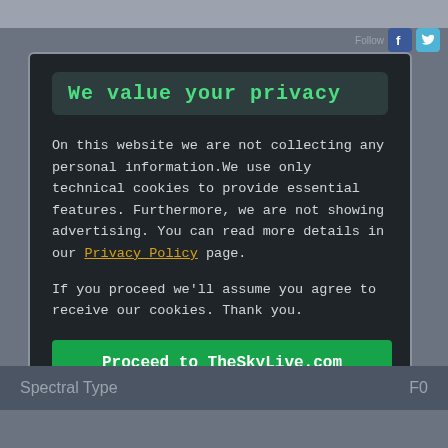We value your privacy
On this website we are not collecting any personal information.We use only technical cookies to provide essential features. Furthermore, we are not showing advertising. You can read more details in our Privacy Policy page.
If you proceed we'll assume you agree to receive our cookies. Thank you.
Proceed to TheSkyLive.com
Spectral Type    F0